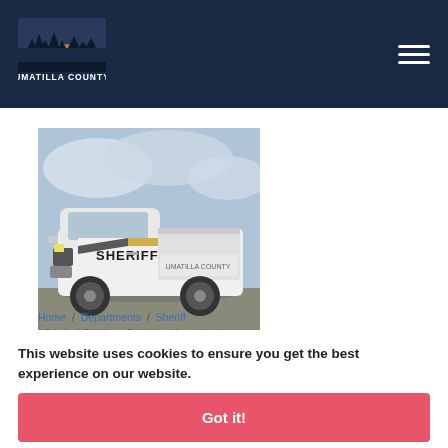[Figure (logo): Umatilla County logo with landscape image and text 'UMATILLA COUNTY' in the website header]
[Figure (photo): White Ford F-250 Sheriff pickup truck with 'SHERIFF' lettering parked on pavement under cloudy sky]
Home / Departments / Sheriff / Criminal Division - Patrol and Investigations
This website uses cookies to ensure you get the best experience on our website.
Criminal Division
The Criminal Division of the Umatilla County Sheriff's Office